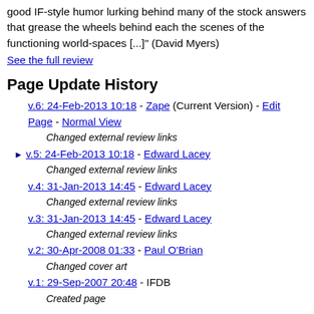good IF-style humor lurking behind many of the stock answers that grease the wheels behind each the scenes of the functioning world-spaces [...]" (David Myers)
See the full review
Page Update History
v.6: 24-Feb-2013 10:18 - Zape (Current Version) - Edit Page - Normal View
Changed external review links
v.5: 24-Feb-2013 10:18 - Edward Lacey
Changed external review links
v.4: 31-Jan-2013 14:45 - Edward Lacey
Changed external review links
v.3: 31-Jan-2013 14:45 - Edward Lacey
Changed external review links
v.2: 30-Apr-2008 01:33 - Paul O'Brian
Changed cover art
v.1: 29-Sep-2007 20:48 - IFDB
Created page